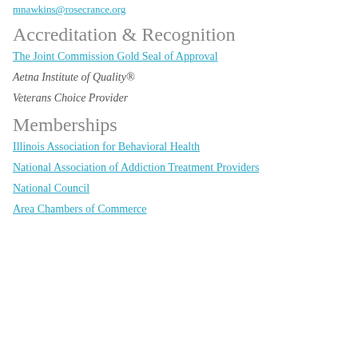mnawkins@rosecrance.org
Accreditation & Recognition
The Joint Commission Gold Seal of Approval
Aetna Institute of Quality®
Veterans Choice Provider
Memberships
Illinois Association for Behavioral Health
National Association of Addiction Treatment Providers
National Council
Area Chambers of Commerce